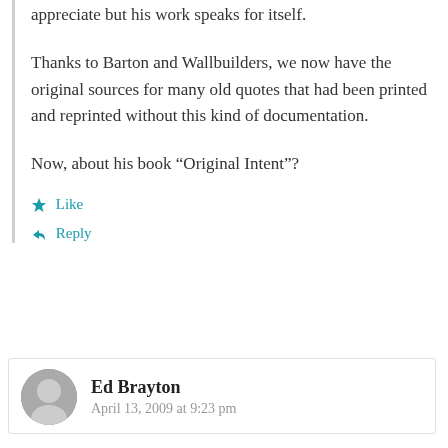appreciate but his work speaks for itself.
Thanks to Barton and Wallbuilders, we now have the original sources for many old quotes that had been printed and reprinted without this kind of documentation.
Now, about his book “Original Intent”?
★ Like
↳ Reply
Ed Brayton
April 13, 2009 at 9:23 pm